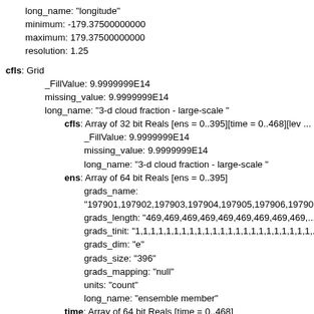long_name: "longitude"
minimum: -179.37500000000
maximum: 179.37500000000
resolution: 1.25
cfls: Grid
_FillValue: 9.9999999E14
missing_value: 9.9999999E14
long_name: "3-d cloud fraction - large-scale "
cfls: Array of 32 bit Reals [ens = 0..395][time = 0..468][lev ...
_FillValue: 9.9999999E14
missing_value: 9.9999999E14
long_name: "3-d cloud fraction - large-scale "
ens: Array of 64 bit Reals [ens = 0..395]
grads_name:
"197901,197902,197903,197904,197905,197906,19790...
grads_length: "469,469,469,469,469,469,469,469,469,...
grads_tinit: "1,1,1,1,1,1,1,1,1,1,1,1,1,1,1,1,1,1,1,1,1,1,1,...
grads_dim: "e"
grads_size: "396"
grads_mapping: "null"
units: "count"
long_name: "ensemble member"
time: Array of 64 bit Reals [time = 0..468]
grads_dim: "t"